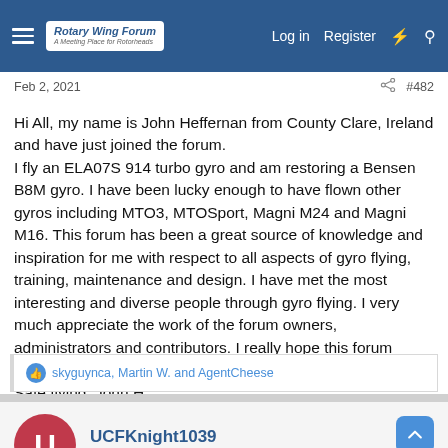Rotary Wing Forum — A Meeting Place for Rotorheads | Log in | Register
Feb 2, 2021 #482
Hi All, my name is John Heffernan from County Clare, Ireland and have just joined the forum.
I fly an ELA07S 914 turbo gyro and am restoring a Bensen B8M gyro. I have been lucky enough to have flown other gyros including MTO3, MTOSport, Magni M24 and Magni M16. This forum has been a great source of knowledge and inspiration for me with respect to all aspects of gyro flying, training, maintenance and design. I have met the most interesting and diverse people through gyro flying. I very much appreciate the work of the forum owners, administrators and contributors. I really hope this forum continues to operate.
Safe flying, John H.
skyguynca, Martin W. and AgentCheese
UCFKnight1039
Newbie